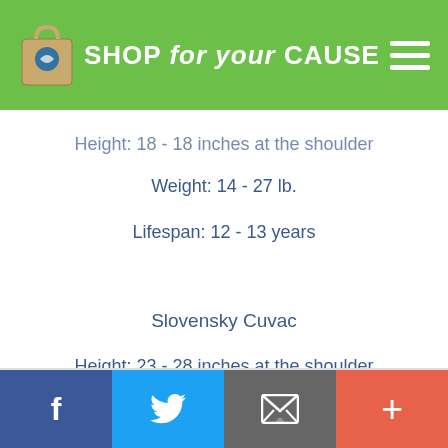SHOP for your CAUSE
Height: 18 - 18 inches at the shoulder
Weight: 14 - 27 lb.
Lifespan: 12 - 13 years
Slovensky Cuvac
Height: 23 - 28 inches at the shoulder
Weight: 65 - 100 lb.
Lifespan: 11 - 13 years
f  twitter  email  +